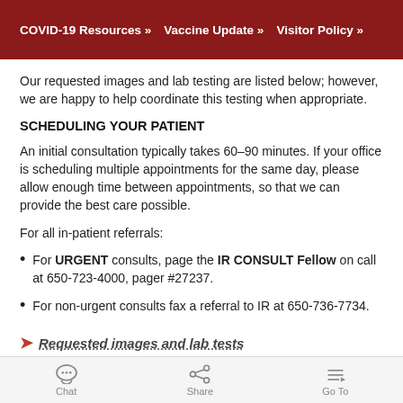COVID-19 Resources »   Vaccine Update »   Visitor Policy »
Our requested images and lab testing are listed below; however, we are happy to help coordinate this testing when appropriate.
SCHEDULING YOUR PATIENT
An initial consultation typically takes 60–90 minutes. If your office is scheduling multiple appointments for the same day, please allow enough time between appointments, so that we can provide the best care possible.
For all in-patient referrals:
For URGENT consults, page the IR CONSULT Fellow on call at 650-723-4000, pager #27237.
For non-urgent consults fax a referral to IR at 650-736-7734.
Requested images and lab tests
Chat   Share   Go To